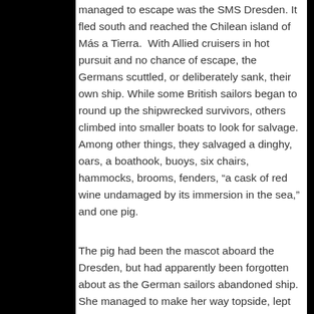managed to escape was the SMS Dresden. It fled south and reached the Chilean island of Más a Tierra.  With Allied cruisers in hot pursuit and no chance of escape, the Germans scuttled, or deliberately sank, their own ship. While some British sailors began to round up the shipwrecked survivors, others climbed into smaller boats to look for salvage.  Among other things, they salvaged a dinghy, oars, a boathook, buoys, six chairs, hammocks, brooms, fenders, “a cask of red wine undamaged by its immersion in the sea,” and one pig.
The pig had been the mascot aboard the Dresden, but had apparently been forgotten about as the German sailors abandoned ship.  She managed to make her way topside, lept into the water, and swam for all she was worth. A petty officer from the HMS